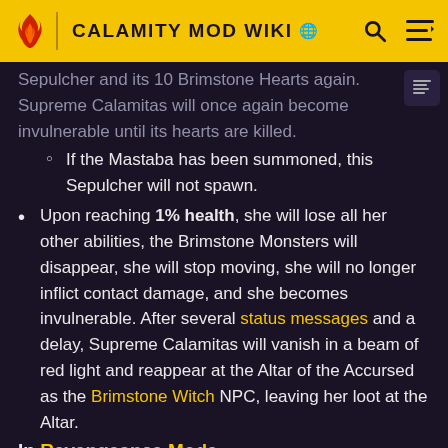CALAMITY MOD WIKI
Sepulcher and its 10 Brimstone Hearts again. Supreme Calamitas will once again become invulnerable until its hearts are killed.
If the Mastaba has been summoned, this Sepulcher will not spawn.
Upon reaching 1% health, she will lose all her other abilities, the Brimstone Monsters will disappear, she will stop moving, she will no longer inflict contact damage, and she becomes invulnerable. After several status messages and a delay, Supreme Calamitas will vanish in a beam of red light and reappear at the Altar of the Accursed as the Brimstone Witch NPC, leaving her loot at the Altar.
In Revengeance Mode